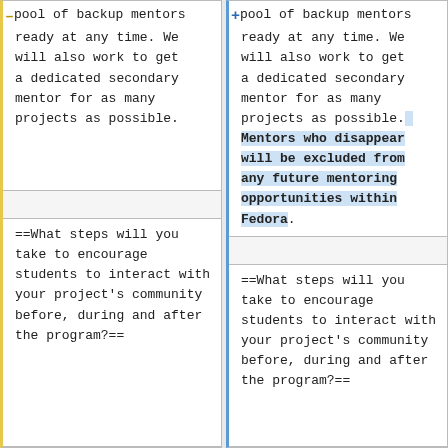mishaps, we have a pool of backup mentors ready at any time. We will also work to get a dedicated secondary mentor for as many projects as possible.
mishaps, we have a pool of backup mentors ready at any time. We will also work to get a dedicated secondary mentor for as many projects as possible. Mentors who disappear will be excluded from any future mentoring opportunities within Fedora.
==What steps will you take to encourage students to interact with your project's community before, during and after the program?==
==What steps will you take to encourage students to interact with your project's community before, during and after the program?==